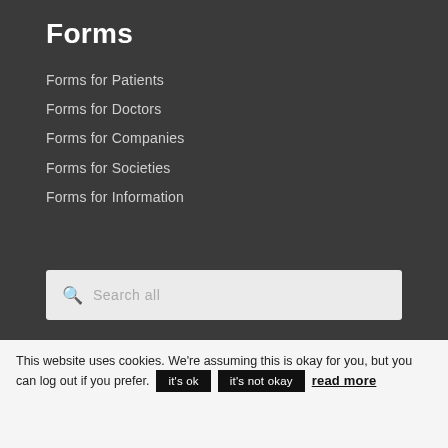Forms
Forms for Patients
Forms for Doctors
Forms for Companies
Forms for Societies
Forms for Information
Search all
This website uses cookies. We're assuming this is okay for you, but you can log out if you prefer. it's ok it's not okay read more